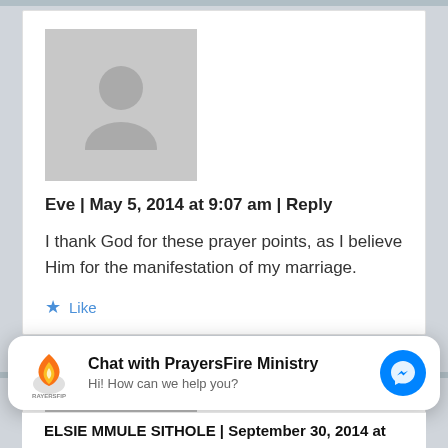[Figure (photo): Gray avatar placeholder image with silhouette of a person]
Eve | May 5, 2014 at 9:07 am | Reply
I thank God for these prayer points, as I believe Him for the manifestation of my marriage.
Like
[Figure (screenshot): Partial gray avatar placeholder for second comment]
[Figure (logo): PrayersFire Ministry logo - flame icon with orange and yellow colors]
Chat with PrayersFire Ministry
Hi! How can we help you?
[Figure (illustration): Blue Facebook Messenger icon button]
ELSIE MMULE SITHOLE | September 30, 2014 at